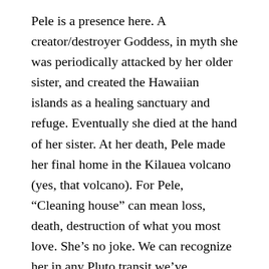Pele is a presence here. A creator/destroyer Goddess, in myth she was periodically attacked by her older sister, and created the Hawaiian islands as a healing sanctuary and refuge. Eventually she died at the hand of her sister. At her death, Pele made her final home in the Kilauea volcano (yes, that volcano). For Pele, “Cleaning house” can mean loss, death, destruction of what you most love. She’s no joke. We can recognize her in any Pluto transit we’ve experienced. Pele has Plutonian logic.
One resident: “As long as Pele is erupting, we say she is dancing,” said Kame’eleihiwa, who referenced the sudden uptick in earthquakes as Pele’s dances. “She is in her land and this”